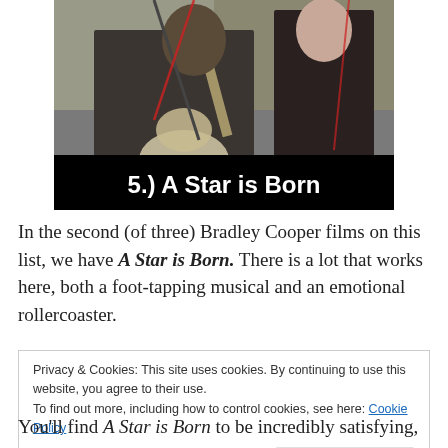[Figure (photo): Two people performing music; a man playing an acoustic guitar in the foreground and a woman in the background. Black banner overlay at the bottom reads '5.) A Star is Born' in bold white text.]
In the second (of three) Bradley Cooper films on this list, we have A Star is Born. There is a lot that works here, both a foot-tapping musical and an emotional rollercoaster.
Privacy & Cookies: This site uses cookies. By continuing to use this website, you agree to their use.
To find out more, including how to control cookies, see here: Cookie Policy
[Close and accept]
You'll find A Star is Born to be incredibly satisfying, that